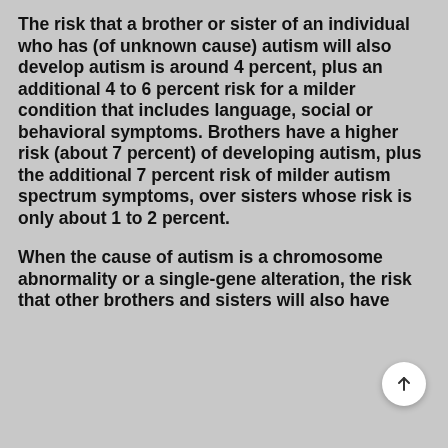The risk that a brother or sister of an individual who has (of unknown cause) autism will also develop autism is around 4 percent, plus an additional 4 to 6 percent risk for a milder condition that includes language, social or behavioral symptoms. Brothers have a higher risk (about 7 percent) of developing autism, plus the additional 7 percent risk of milder autism spectrum symptoms, over sisters whose risk is only about 1 to 2 percent.
When the cause of autism is a chromosome abnormality or a single-gene alteration, the risk that other brothers and sisters will also have autism depends on the specific cause. When...